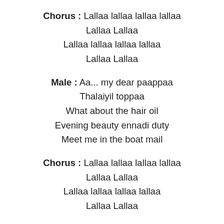Chorus : Lallaa lallaa lallaa lallaa
Lallaa Lallaa
Lallaa lallaa lallaa lallaa
Lallaa Lallaa
Male : Aa... my dear paappaa
Thalaiyil toppaa
What about the hair oil
Evening beauty ennadi duty
Meet me in the boat mail
Chorus : Lallaa lallaa lallaa lallaa
Lallaa Lallaa
Lallaa lallaa lallaa lallaa
Lallaa Lallaa
Male : Aa once a paappaa
Met a maamaa